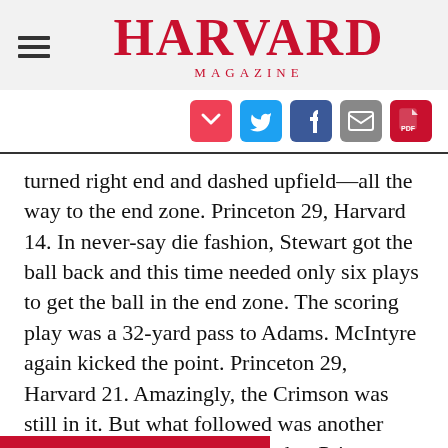HARVARD MAGAZINE
[Figure (infographic): Social sharing icons: Pocket, Twitter, Facebook, Email, PDF]
turned right end and dashed upfield—all the way to the end zone. Princeton 29, Harvard 14. In never-say die fashion, Stewart got the ball back and this time needed only six plays to get the ball in the end zone. The scoring play was a 32-yard pass to Adams. McIntyre again kicked the point. Princeton 29, Harvard 21. Amazingly, the Crimson was still in it. But what followed was another onside kick by Lipel and another Princeton recovery to ice the game.